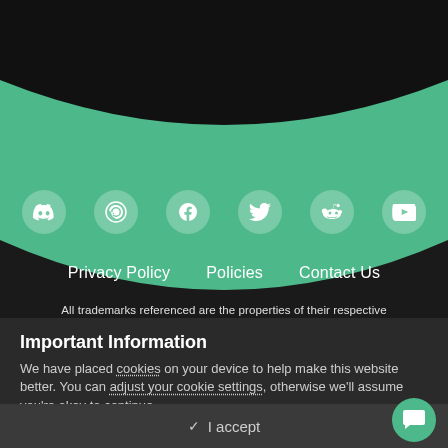[Figure (screenshot): Website footer section with teal/green background showing social media icons (Discord, Steam, Facebook, Twitter, Reddit, YouTube) in circular white icon buttons, followed by navigation links Privacy Policy, Policies, Contact Us, and a partially visible trademark text line]
Privacy Policy   Policies   Contact Us
All trademarks referenced are the properties of their respective
Important Information
We have placed cookies on your device to help make this website better. You can adjust your cookie settings, otherwise we'll assume you're okay to continue.
✓  I accept